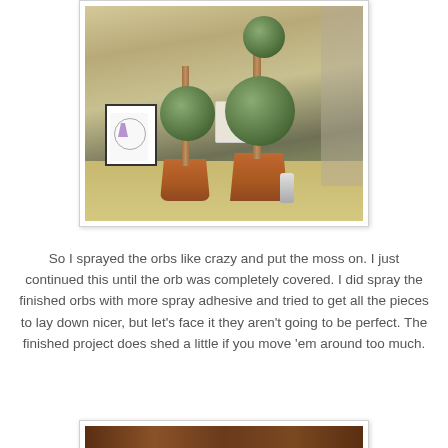[Figure (photo): Two DIY moss topiary balls in terracotta pots with wooden dowel stems, placed on a floor near a wall. A small framed child's handprint art is visible in the background, along with a spray can beside the pots.]
So I sprayed the orbs like crazy and put the moss on.  I just continued this until the orb was completely covered.  I did spray the finished orbs with more spray adhesive and tried to get all the pieces to lay down nicer, but let's face it they aren't going to be perfect.  The finished project does shed a little if you move 'em around too much.
[Figure (photo): Partial view of what appears to be the finished topiary project in a different setting, cropped at bottom of page.]